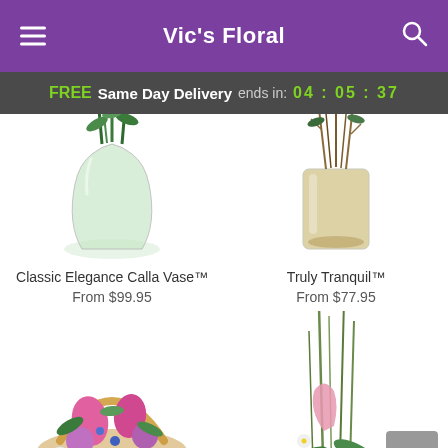Vic's Floral
FREE Same Day Delivery ends in: 04 : 05 : 37
[Figure (photo): Classic Elegance Calla Vase product photo showing tall glass vase with green calla lilies]
Classic Elegance Calla Vase™
From $99.95
[Figure (photo): Truly Tranquil product photo showing glass vase with green branches and pebbles]
Truly Tranquil™
From $77.95
[Figure (photo): Colorful flower basket arrangement with pink lilies, roses, daisies and blue flowers]
[Figure (photo): Tall floral arrangement with grass stalks, calla lily and small white flowers]